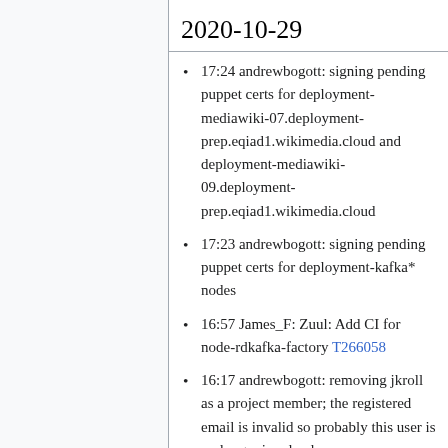2020-10-29
17:24 andrewbogott: signing pending puppet certs for deployment-mediawiki-07.deployment-prep.eqiad1.wikimedia.cloud and deployment-mediawiki-09.deployment-prep.eqiad1.wikimedia.cloud
17:23 andrewbogott: signing pending puppet certs for deployment-kafka* nodes
16:57 James_F: Zuul: Add CI for node-rdkafka-factory T266058
16:17 andrewbogott: removing jkroll as a project member; the registered email is invalid so probably this user is no longer involved
14:26 hashar: restarted Jenkins on releases1003 (java upgrade)